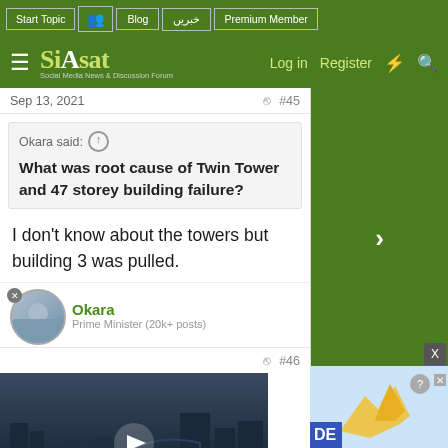Start Topic | Blog | خبریں | Premium Member
Siasat.pk — Log in  Register
Sep 13, 2021  #45
Okara said: ↑
What was root cause of Twin Tower and 47 storey building failure?
I don't know about the towers but building 3 was pulled.
Okara
Prime Minister (20k+ posts)
#46